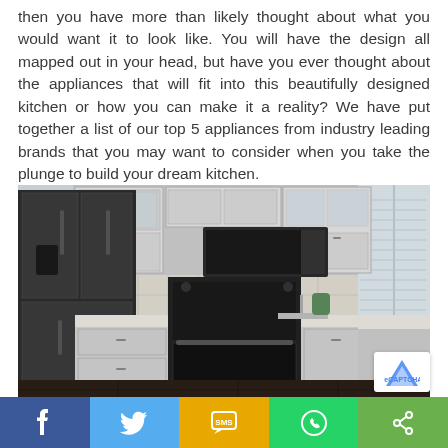then you have more than likely thought about what you would want it to look like. You will have the design all mapped out in your head, but have you ever thought about the appliances that will fit into this beautifully designed kitchen or how you can make it a reality? We have put together a list of our top 5 appliances from industry leading brands that you may want to consider when you take the plunge to build your dream kitchen.
[Figure (photo): A modern kitchen with grey shaker-style cabinets, dark stainless steel appliances including a French door refrigerator on the left, an over-the-range microwave, and a double oven range in the center, with a tile backsplash, dark hardwood floor, and a window with shutters on the right.]
[Figure (other): Social sharing bar at the bottom with five buttons: Facebook (blue), Twitter (light blue), SMS (yellow/gold), WhatsApp (green), and a generic share button (green).]